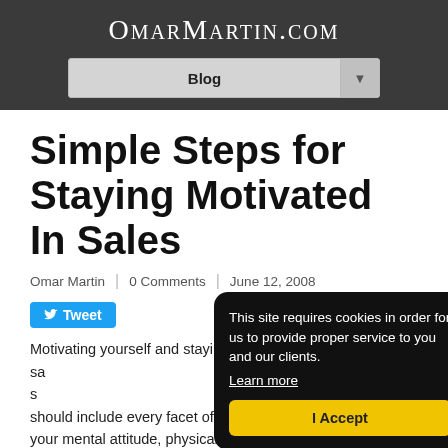OmarMartin.com
Simple Steps for Staying Motivated In Sales
Omar Martin | 0 Comments | June 12, 2008
Tweet
Motivating yourself and staying motivated is the key to your sales success. Your motivation plan should include every facet of your business life. This means your mental attitude, physical well being and
This site requires cookies in order for us to provide proper service to you and our clients. Learn more
I Accept